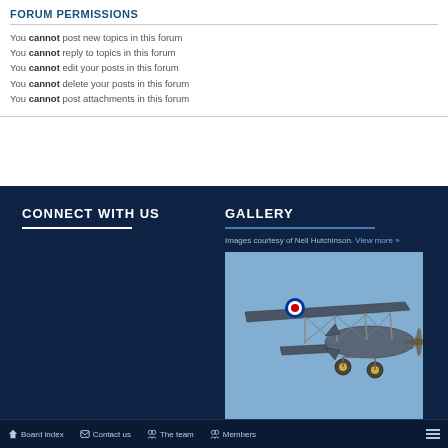FORUM PERMISSIONS
You cannot post new topics in this forum
You cannot reply to topics in this forum
You cannot edit your posts in this forum
You cannot delete your posts in this forum
You cannot post attachments in this forum
CONNECT WITH US
GALLERY
Images courtesy of Neil Hutchinson. View more »
[Figure (photo): Vintage biplane aircraft photographed against a blue sky, showing upper wing with RAF roundel markings]
Board index   Contact us   The team   Members